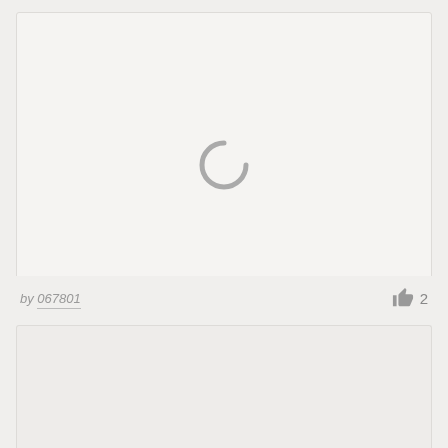[Figure (screenshot): A large light gray card area with a loading spinner icon (arc circle) centered in it, indicating content is loading.]
by 067801
2